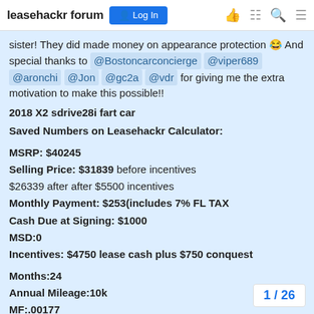leasehackr forum  Log In
sister! They did made money on appearance protection 😂 And special thanks to @Bostoncarconcierge @viper689 @aronchi @Jon @gc2a @vdr for giving me the extra motivation to make this possible!!
2018 X2 sdrive28i fart car
Saved Numbers on Leasehackr Calculator:

MSRP: $40245
Selling Price: $31839 before incentives
$26339 after after $5500 incentives
Monthly Payment: $253(includes 7% FL TAX
Cash Due at Signing: $1000
MSD:0
Incentives: $4750 lease cash plus $750 conquest

Months:24
Annual Mileage:10k
MF:.00177
Residual: don't remember
1 / 26